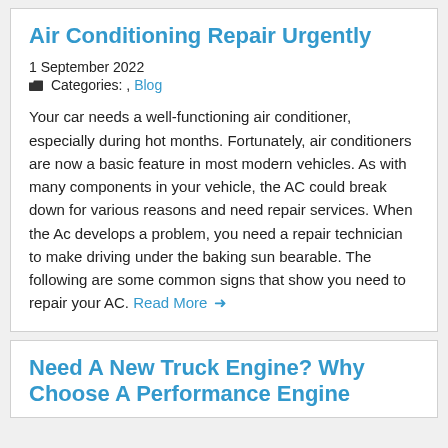Air Conditioning Repair Urgently
1 September 2022
Categories: , Blog
Your car needs a well-functioning air conditioner, especially during hot months. Fortunately, air conditioners are now a basic feature in most modern vehicles. As with many components in your vehicle, the AC could break down for various reasons and need repair services. When the Ac develops a problem, you need a repair technician to make driving under the baking sun bearable. The following are some common signs that show you need to repair your AC. Read More →
Need A New Truck Engine? Why Choose A Performance Engine